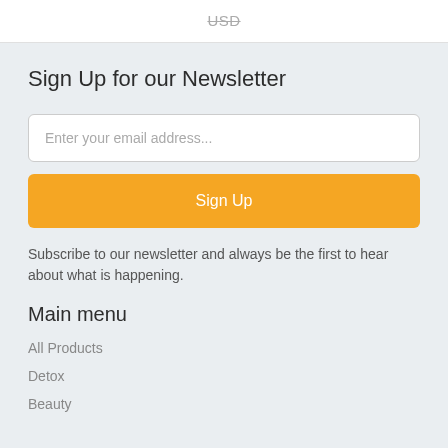USD
Sign Up for our Newsletter
Enter your email address...
Sign Up
Subscribe to our newsletter and always be the first to hear about what is happening.
Main menu
All Products
Detox
Beauty